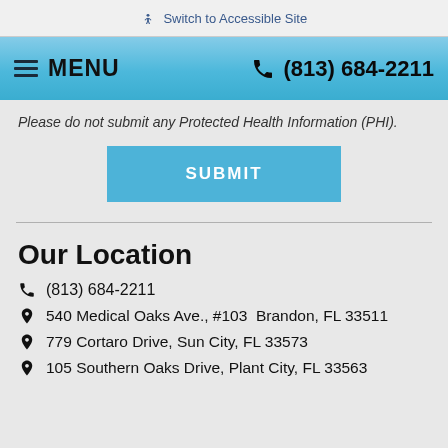♿ Switch to Accessible Site
☰ MENU  ☎ (813) 684-2211
Please do not submit any Protected Health Information (PHI).
SUBMIT
Our Location
☎ (813) 684-2211
📍 540 Medical Oaks Ave., #103  Brandon, FL 33511
📍 779 Cortaro Drive, Sun City, FL 33573
📍 105 Southern Oaks Drive, Plant City, FL 33563